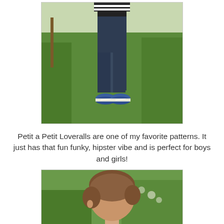[Figure (photo): Child wearing dark navy/denim slim pants and a black-and-white striped shirt, standing on green grass, wearing blue sneakers. Photo cropped to show body from chest down.]
Petit a Petit Loveralls are one of my favorite patterns. It just has that fun funky, hipster vibe and is perfect for boys and girls!
[Figure (photo): Close-up of a child's head from behind/side, with short brown hair, outdoors with greenery in background.]